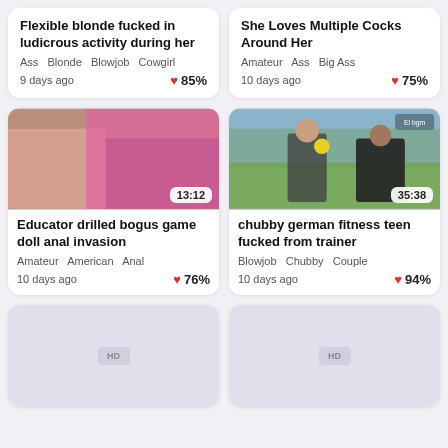Flexible blonde fucked in ludicrous activity during her
Ass  Blonde  Blowjob  Cowgirl
9 days ago  ❤ 85%
She Loves Multiple Cocks Around Her
Amateur  Ass  Big Ass
10 days ago  ❤ 75%
[Figure (photo): Video thumbnail: explicit adult content, duration 13:12]
Educator drilled bogus game doll anal invasion
Amateur  American  Anal
10 days ago  ❤ 76%
[Figure (photo): Video thumbnail: outdoor fitness scene with two people, duration 35:38]
chubby german fitness teen fucked from trainer
Blowjob  Chubby  Couple
10 days ago  ❤ 94%
[Figure (photo): Video thumbnail placeholder with HD badge]
[Figure (photo): Video thumbnail placeholder with HD badge]